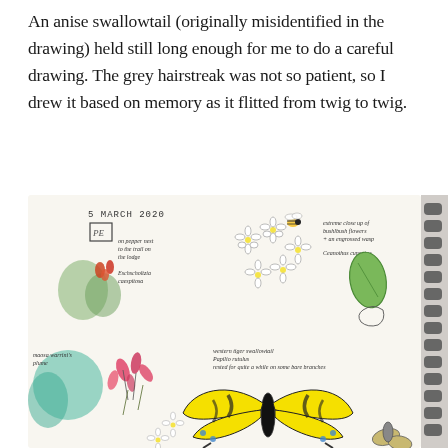An anise swallowtail (originally misidentified in the drawing) held still long enough for me to do a careful drawing. The grey hairstreak was not so patient, so I drew it based on memory as it flitted from twig to twig.
[Figure (illustration): A nature journal sketchbook page dated '5 MARCH 2020' showing botanical and insect illustrations including: a pepper nest near a trail/lodge, Eschscholtzia caespitosa (California poppies with orange/red blooms), bushlbush flowers with an engrossed wasp (extreme close-up), Ceanothus cuneatus (green leaf), Maosa warrini's plume (teal/green plant), a western tiger swallowtail butterfly (Papilio rutulus, yellow and black) resting on bare branches, and various wildflowers. The sketchbook has a spiral binding visible on the right edge.]